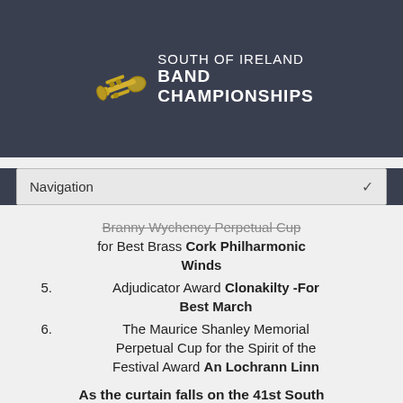SOUTH OF IRELAND BAND CHAMPIONSHIPS
Bramy Wychency Perpetual Cup for Best Brass Cork Philharmonic Winds
5. Adjudicator Award Clonakilty -For Best March
6. The Maurice Shanley Memorial Perpetual Cup for the Spirit of the Festival Award An Lochrann Linn
As the curtain falls on the 41st South of Ireland Band Championships, we gratefully acknowledge all of you who made Saturday, July 2, 2022 such a special day in Clonakilty. We look